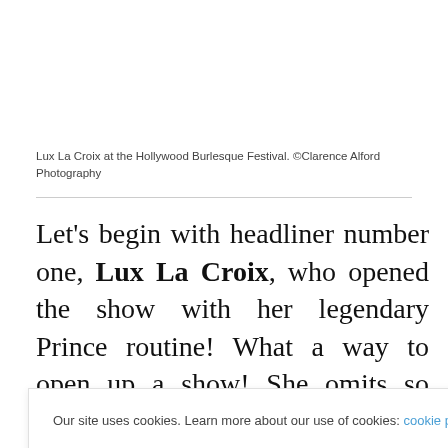Lux La Croix at the Hollywood Burlesque Festival. ©Clarence Alford Photography
Let's begin with headliner number one, Lux La Croix, who opened the show with her legendary Prince routine! What a way to open up a show! She omits so much energy when [she performs, getting e]yone in the [audience on their feet,] making the [show incredible. Son] son Ivory [was there, making] a little [something in their] her routine
Our site uses cookies. Learn more about our use of cookies: cookie policy
I ACCEPT USE OF COOKIES